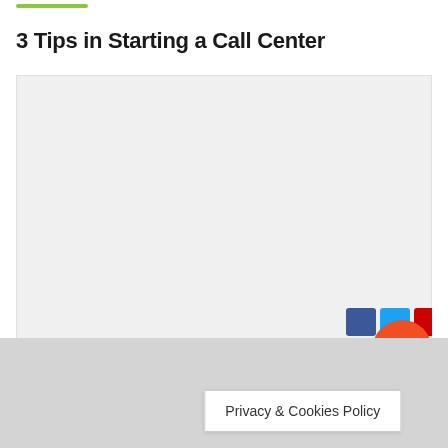3 Tips in Starting a Call Center
[Figure (other): Large placeholder image area with light gray background]
Privacy & Cookies Policy